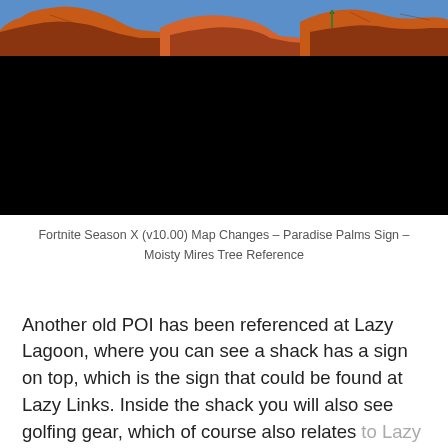[Figure (photo): Fortnite game screenshot showing red rock canyon landscape with blue sky, partially obscured by a black area (video/embed area).]
Fortnite Season X (v10.00) Map Changes – Paradise Palms Sign – Moisty Mires Tree Reference
Another old POI has been referenced at Lazy Lagoon, where you can see a shack has a sign on top, which is the sign that could be found at Lazy Links. Inside the shack you will also see golfing gear, which of course also relates to Lazy Links, so we could also see this POI added in the upcoming weeks.